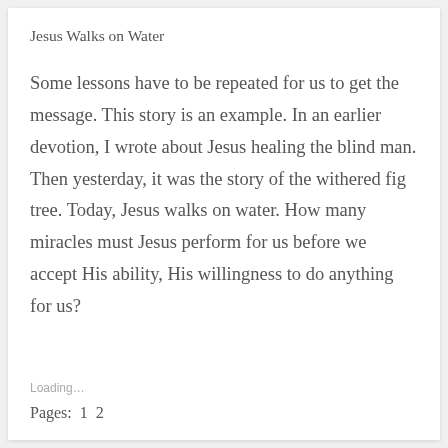Jesus Walks on Water
Some lessons have to be repeated for us to get the message. This story is an example. In an earlier devotion, I wrote about Jesus healing the blind man. Then yesterday, it was the story of the withered fig tree. Today, Jesus walks on water. How many miracles must Jesus perform for us before we accept His ability, His willingness to do anything for us?
Loading...
Pages:  1  2